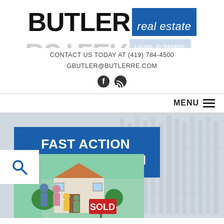[Figure (logo): Butler Real Estate logo: BUTLER in large bold black text, 'real estate' in white italic on blue rectangle background, with mirror reflection below]
CONTACT US TODAY AT (419) 784-4500
GBUTLER@BUTLERRE.COM
[Figure (illustration): Social media icons: Facebook and RSS feed icons]
MENU
[Figure (screenshot): Hero section with blue banner reading FAST ACTION MARKETING PLAN, photo of family with sold sign in front of house, search icon, and faded building background on right]
FAST ACTION MARKETING PLAN